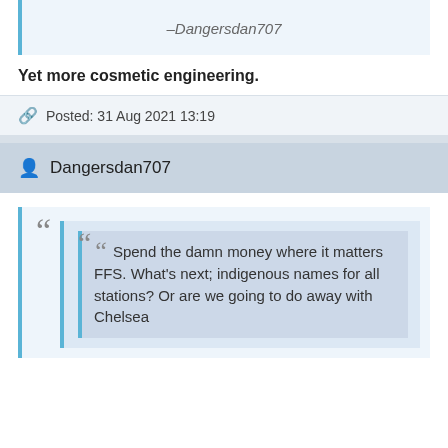–Dangersdan707
Yet more cosmetic engineering.
Posted: 31 Aug 2021 13:19
Dangersdan707
Spend the damn money where it matters FFS. What's next; indigenous names for all stations? Or are we going to do away with Chelsea